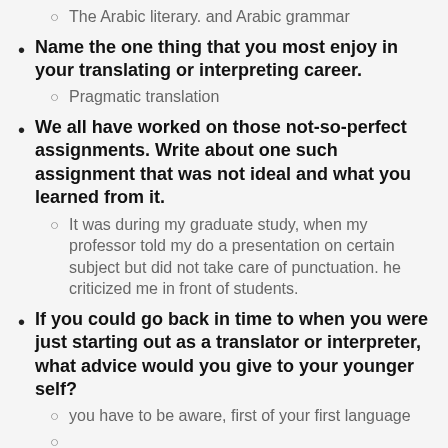The Arabic literary. and Arabic grammar
Name the one thing that you most enjoy in your translating or interpreting career.
Pragmatic translation
We all have worked on those not-so-perfect assignments. Write about one such assignment that was not ideal and what you learned from it.
It was during my graduate study, when my professor told my do a presentation on certain subject but did not take care of punctuation. he criticized me in front of students.
If you could go back in time to when you were just starting out as a translator or interpreter, what advice would you give to your younger self?
you have to be aware, first of your first language